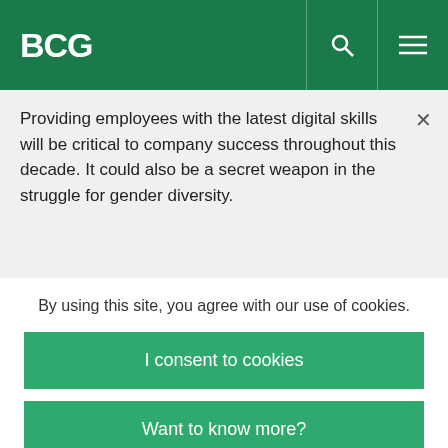BCG
Providing employees with the latest digital skills will be critical to company success throughout this decade. It could also be a secret weapon in the struggle for gender diversity.
Shifting Skills, Moving Targets, and Remaking the Workforce
By using this site, you agree with our use of cookies.
I consent to cookies
Want to know more?
Read our Cookie Policy